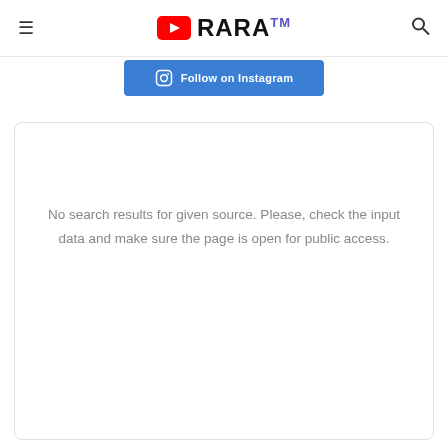RARA™
[Figure (other): Follow on Instagram blue button]
No search results for given source. Please, check the input data and make sure the page is open for public access.